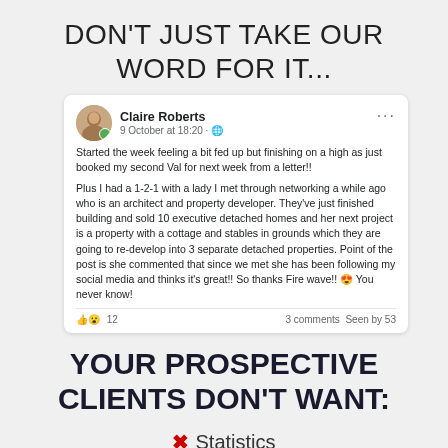DON'T JUST TAKE OUR WORD FOR IT...
[Figure (screenshot): Facebook post screenshot by Claire Roberts, dated 9 October at 18:20. Post text: 'Started the week feeling a bit fed up but finishing on a high as just booked my second Val for next week from a letter!! Plus I had a 1-2-1 with a lady I met through networking a while ago who is an architect and property developer. They've just finished building and sold 10 executive detached homes and her next project is a property with a cottage and stables in grounds which they are going to re-develop into 3 separate detached properties. Point of the post is she commented that since we met she has been following my social media and thinks it's great!! So thanks Fire wave!! 😍 You never know!' Reactions: 👍😮 12, 3 comments Seen by 53]
YOUR PROSPECTIVE CLIENTS DON'T WANT:
✗ Statistics
✗ Market reports